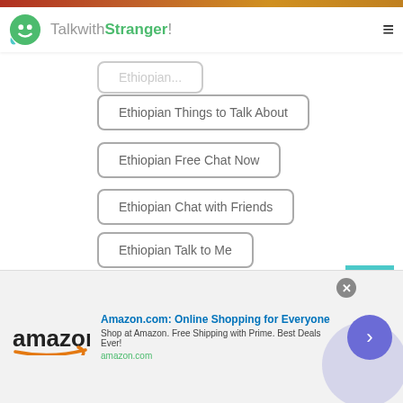TalkwithStranger!
Ethiopian Things to Talk About
Ethiopian Free Chat Now
Ethiopian Chat with Friends
Ethiopian Talk to Me
Ethiopian Start Chatting
Ethiopian Talk to Strangers Online
Ethiopian Chat USA
Ethiopian Free Phone Chat
Amazon.com: Online Shopping for Everyone
Shop at Amazon. Free Shipping with Prime. Best Deals Ever!
amazon.com